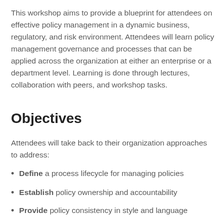This workshop aims to provide a blueprint for attendees on effective policy management in a dynamic business, regulatory, and risk environment. Attendees will learn policy management governance and processes that can be applied across the organization at either an enterprise or a department level. Learning is done through lectures, collaboration with peers, and workshop tasks.
Objectives
Attendees will take back to their organization approaches to address:
Define a process lifecycle for managing policies
Establish policy ownership and accountability
Provide policy consistency in style and language